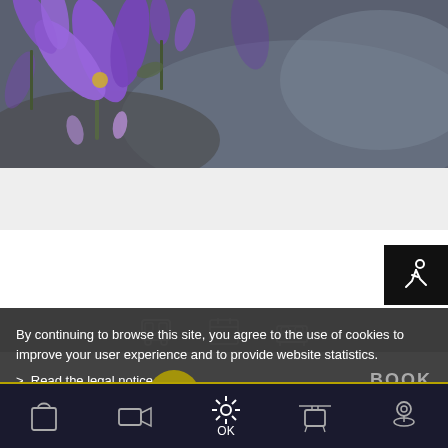[Figure (photo): Close-up photo of purple/violet flowers (likely bellflowers or campanula) with blurred rocky background, shot in macro style]
By continuing to browse this site, you agree to the use of cookies to improve your user experience and to provide website statistics.
> Read the legal notice
BOOK
OK